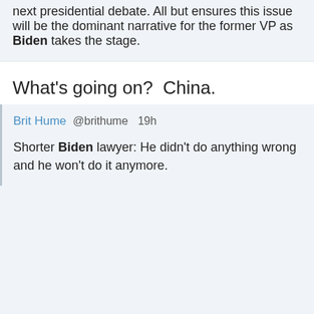next presidential debate. All but ensures this issue will be the dominant narrative for the former VP as Biden takes the stage.
What's going on?  China.
Brit Hume @brithume  19h
Shorter Biden lawyer: He didn't do anything wrong and he won't do it anymore.